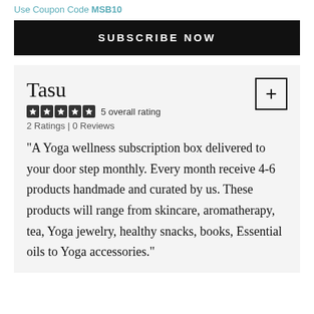Use Coupon Code MSB10
SUBSCRIBE NOW
Tasu
5 overall rating
2 Ratings | 0 Reviews
"A Yoga wellness subscription box delivered to your door step monthly. Every month receive 4-6 products handmade and curated by us. These products will range from skincare, aromatherapy, tea, Yoga jewelry, healthy snacks, books, Essential oils to Yoga accessories."